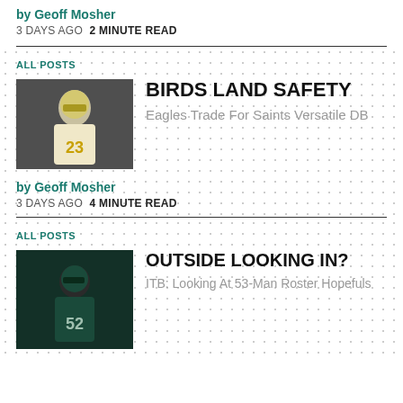by Geoff Mosher
3 DAYS AGO  2 MINUTE READ
ALL POSTS
[Figure (photo): Football player in New Orleans Saints white uniform with number 23]
BIRDS LAND SAFETY
Eagles Trade For Saints Versatile DB
by Geoff Mosher
3 DAYS AGO  4 MINUTE READ
ALL POSTS
[Figure (photo): Football player in Philadelphia Eagles dark uniform with number 52]
OUTSIDE LOOKING IN?
ITB: Looking At 53-Man Roster Hopefuls